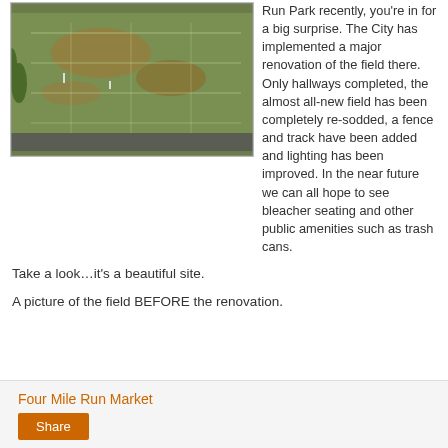[Figure (photo): Aerial photograph of a sports field at Four Mile Run Park before renovation, showing sparse grass and dirt patches, taken from above.]
Run Park recently, you're in for a big surprise. The City has implemented a major renovation of the field there. Only hallways completed, the almost all-new field has been completely re-sodded, a fence and track have been added and lighting has been improved. In the near future we can all hope to see bleacher seating and other public amenities such as trash cans.
Take a look…it's a beautiful site.
A picture of the field BEFORE the renovation.
Four Mile Run Market
Share